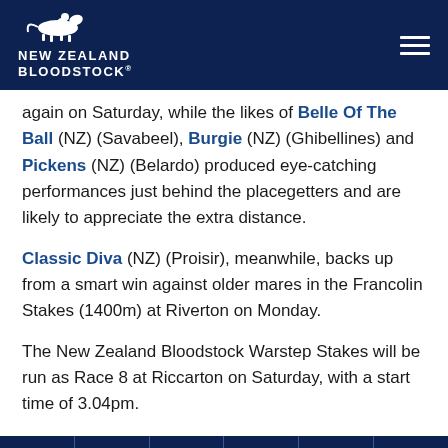NEW ZEALAND BLOODSTOCK
again on Saturday, while the likes of Belle Of The Ball (NZ) (Savabeel), Burgie (NZ) (Ghibellines) and Pickens (NZ) (Belardo) produced eye-catching performances just behind the placegetters and are likely to appreciate the extra distance.
Classic Diva (NZ) (Proisir), meanwhile, backs up from a smart win against older mares in the Francolin Stakes (1400m) at Riverton on Monday.
The New Zealand Bloodstock Warstep Stakes will be run as Race 8 at Riccarton on Saturday, with a start time of 3.04pm.
Listed New Zealand Bloodstock Warstep Stakes (2000m Field